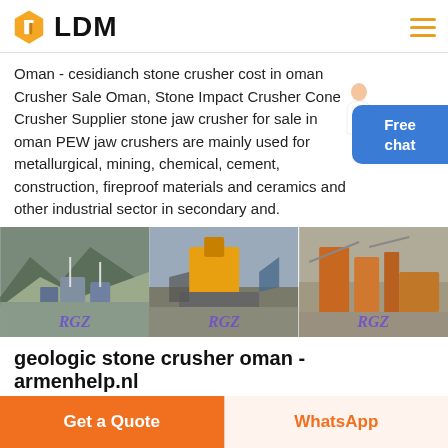[Figure (logo): LDM company logo with hexagonal orange icon and bold LDM text]
Oman - cesidianch stone crusher cost in oman Crusher Sale Oman, Stone Impact Crusher Cone Crusher Supplier stone jaw crusher for sale in oman PEW jaw crushers are mainly used for metallurgical, mining, chemical, cement, construction, fireproof materials and ceramics and other industrial sector in secondary and.
[Figure (photo): Three side-by-side photos of stone crushing equipment and mining sites in Oman, each with a purple watermark]
geologic stone crusher oman - armenhelp.nl
Crushed Stone The Unsung Mineral Hero… dealing with various
Get a Quote
WhatsApp